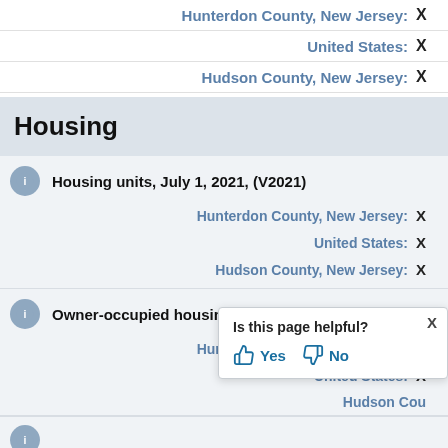Hunterdon County, New Jersey: X
United States: X
Hudson County, New Jersey: X
Housing
Housing units, July 1, 2021, (V2021)
Hunterdon County, New Jersey: X
United States: X
Hudson County, New Jersey: X
Owner-occupied housing unit rate, 2016-2020
Hunterdon County, New Jersey: X
United States: X
Hudson County, New Jersey: X
Is this page helpful? Yes No